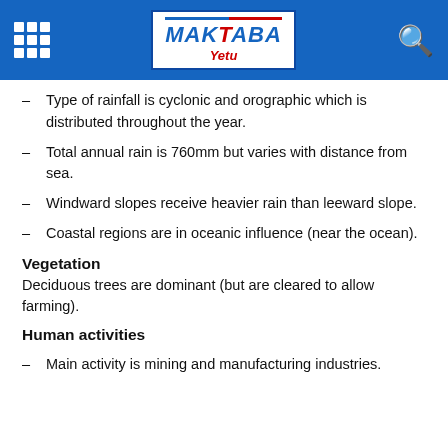Maktaba Yetu
Type of rainfall is cyclonic and orographic which is distributed throughout the year.
Total annual rain is 760mm but varies with distance from sea.
Windward slopes receive heavier rain than leeward slope.
Coastal regions are in oceanic influence (near the ocean).
Vegetation
Deciduous trees are dominant (but are cleared to allow farming).
Human activities
Main activity is mining and manufacturing industries.